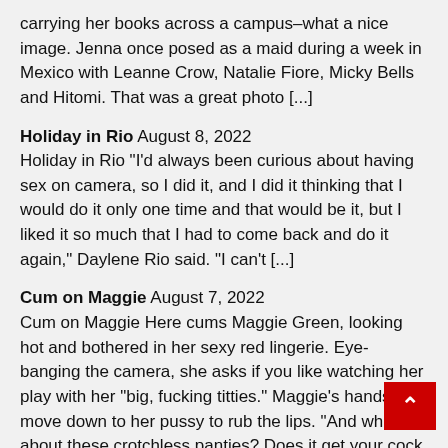carrying her books across a campus–what a nice image. Jenna once posed as a maid during a week in Mexico with Leanne Crow, Natalie Fiore, Micky Bells and Hitomi. That was a great photo [...]
Holiday in Rio August 8, 2022
Holiday in Rio "I'd always been curious about having sex on camera, so I did it, and I did it thinking that I would do it only one time and that would be it, but I liked it so much that I had to come back and do it again," Daylene Rio said. "I can't [...]
Cum on Maggie August 7, 2022
Cum on Maggie Here cums Maggie Green, looking hot and bothered in her sexy red lingerie. Eye-banging the camera, she asks if you like watching her play with her "big, fucking titties." Maggie's hands move down to her pussy to rub the lips. "And what about these crotchless panties? Does it get your cock hard [...]
Jenni Noble Celebrates 30 Years of <i>SCORE</i> August 6, 2022